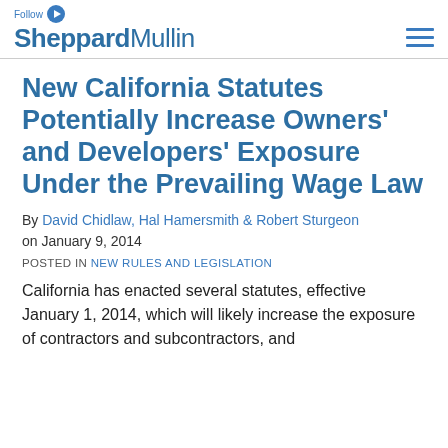SheppardMullin
New California Statutes Potentially Increase Owners' and Developers' Exposure Under the Prevailing Wage Law
By David Chidlaw, Hal Hamersmith & Robert Sturgeon on January 9, 2014
POSTED IN NEW RULES AND LEGISLATION
California has enacted several statutes, effective January 1, 2014, which will likely increase the exposure of contractors and subcontractors, and